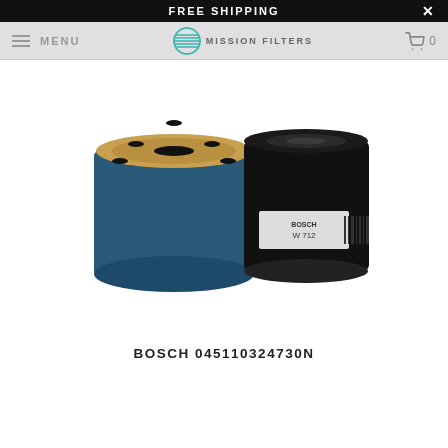FREE SHIPPING
[Figure (logo): Mission Filters logo with horizontal lines forming a globe shape and text MISSION FILTERS]
[Figure (photo): Two Bosch oil filters: one showing the bottom with mounting hole and bypass holes, one showing the side with label W 712 and barcode]
BOSCH 045110324730N